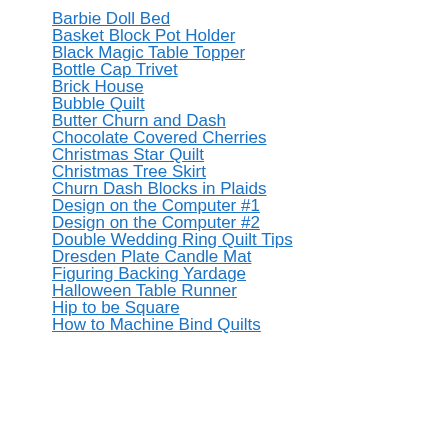Barbie Doll Bed
Basket Block Pot Holder
Black Magic Table Topper
Bottle Cap Trivet
Brick House
Bubble Quilt
Butter Churn and Dash
Chocolate Covered Cherries
Christmas Star Quilt
Christmas Tree Skirt
Churn Dash Blocks in Plaids
Design on the Computer #1
Design on the Computer #2
Double Wedding Ring Quilt Tips
Dresden Plate Candle Mat
Figuring Backing Yardage
Halloween Table Runner
Hip to be Square
How to Machine Bind Quilts